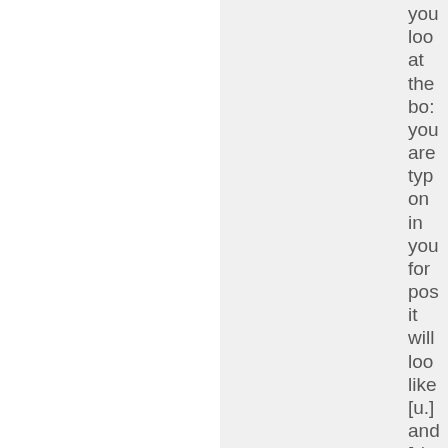you loo at the bo: you are typ on in you for pos it will loo like [u.] and [./u wit the Pe the Hig